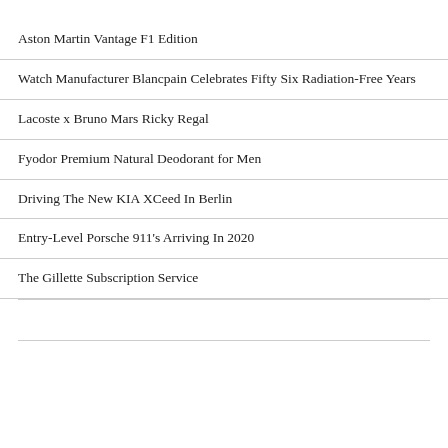Aston Martin Vantage F1 Edition
Watch Manufacturer Blancpain Celebrates Fifty Six Radiation-Free Years
Lacoste x Bruno Mars Ricky Regal
Fyodor Premium Natural Deodorant for Men
Driving The New KIA XCeed In Berlin
Entry-Level Porsche 911's Arriving In 2020
The Gillette Subscription Service